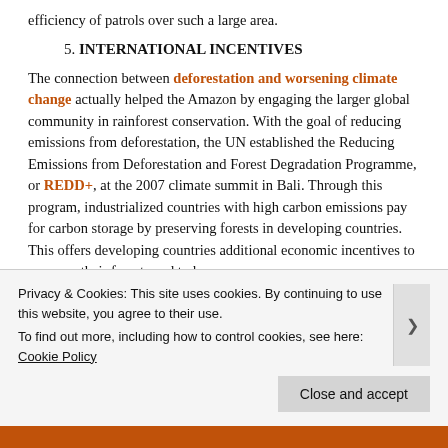efficiency of patrols over such a large area.
5. INTERNATIONAL INCENTIVES
The connection between deforestation and worsening climate change actually helped the Amazon by engaging the larger global community in rainforest conservation. With the goal of reducing emissions from deforestation, the UN established the Reducing Emissions from Deforestation and Forest Degradation Programme, or REDD+, at the 2007 climate summit in Bali. Through this program, industrialized countries with high carbon emissions pay for carbon storage by preserving forests in developing countries. This offers developing countries additional economic incentives to preserve their forests and to keep.
Privacy & Cookies: This site uses cookies. By continuing to use this website, you agree to their use.
To find out more, including how to control cookies, see here: Cookie Policy
Close and accept